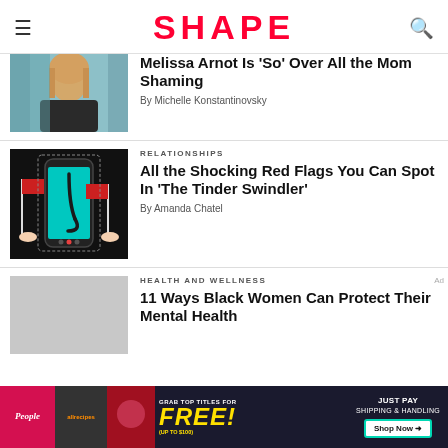SHAPE
[Figure (photo): Woman with blonde hair wearing dark jacket]
Melissa Arnot Is 'So' Over All the Mom Shaming
By Michelle Konstantinovsky
[Figure (photo): Red flags beside a smartphone with hook - Tinder Swindler article image]
RELATIONSHIPS
All the Shocking Red Flags You Can Spot In 'The Tinder Swindler'
By Amanda Chatel
[Figure (photo): Gray placeholder image for health and wellness article]
HEALTH AND WELLNESS
11 Ways Black Women Can Protect Their Mental Health
[Figure (photo): Advertisement banner: Grab top titles for FREE (up to $100) - Just Pay Shipping & Handling - Shop Now]